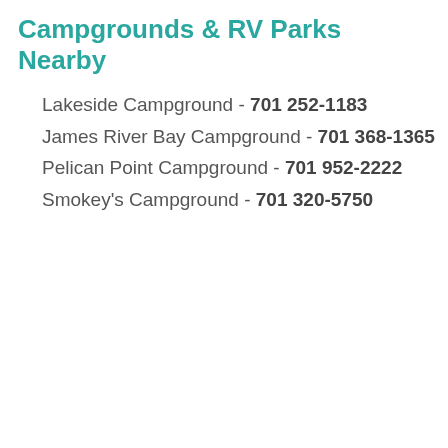Campgrounds & RV Parks Nearby
Lakeside Campground - 701 252-1183
James River Bay Campground - 701 368-1365
Pelican Point Campground - 701 952-2222
Smokey's Campground - 701 320-5750